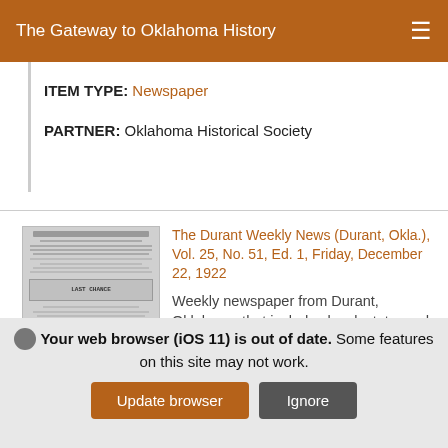The Gateway to Oklahoma History
ITEM TYPE: Newspaper
PARTNER: Oklahoma Historical Society
[Figure (photo): Thumbnail image of a newspaper page from The Durant Weekly News]
The Durant Weekly News (Durant, Okla.), Vol. 25, No. 51, Ed. 1, Friday, December 22, 1922
Weekly newspaper from Durant, Oklahoma that includes local, state, and national news along with extensive advertising
Your web browser (iOS 11) is out of date. Some features on this site may not work.